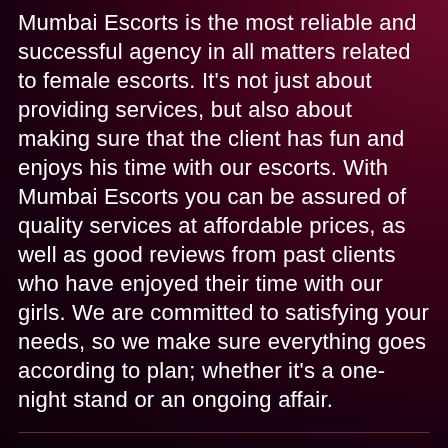Mumbai Escorts is the most reliable and successful agency in all matters related to female escorts. It's not just about providing services, but also about making sure that the client has fun and enjoys his time with our escorts. With Mumbai Escorts you can be assured of quality services at affordable prices, as well as good reviews from past clients who have enjoyed their time with our girls. We are committed to satisfying your needs, so we make sure everything goes according to plan; whether it's a one-night stand or an ongoing affair.
Mumbai escorts are the best way to have a pleasurable experience with an escort. If you're looking for a company that offers good Mumbai call girls, then we're your answer. We only